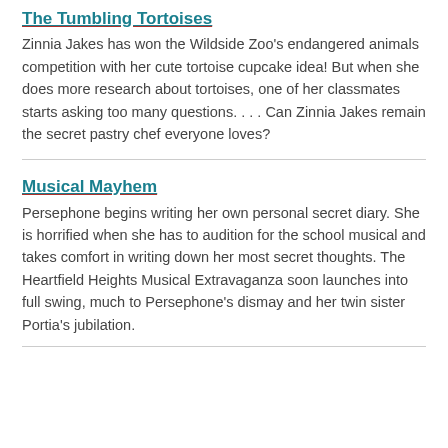The Tumbling Tortoises
Zinnia Jakes has won the Wildside Zoo's endangered animals competition with her cute tortoise cupcake idea! But when she does more research about tortoises, one of her classmates starts asking too many questions. . . . Can Zinnia Jakes remain the secret pastry chef everyone loves?
Musical Mayhem
Persephone begins writing her own personal secret diary. She is horrified when she has to audition for the school musical and takes comfort in writing down her most secret thoughts. The Heartfield Heights Musical Extravaganza soon launches into full swing, much to Persephone's dismay and her twin sister Portia's jubilation.